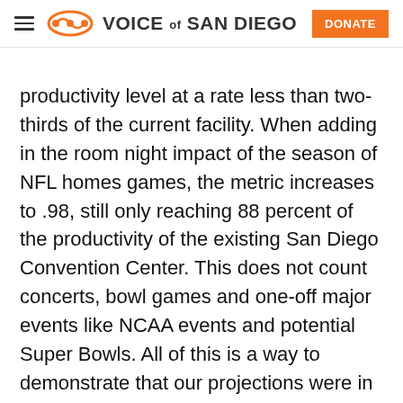VOICE of SAN DIEGO | DONATE
productivity level at a rate less than two-thirds of the current facility. When adding in the room night impact of the season of NFL homes games, the metric increases to .98, still only reaching 88 percent of the productivity of the existing San Diego Convention Center. This does not count concerts, bowl games and one-off major events like NCAA events and potential Super Bowls. All of this is a way to demonstrate that our projections were in no way overblown, aggressive or optimistic.
According to HVS, the building will only